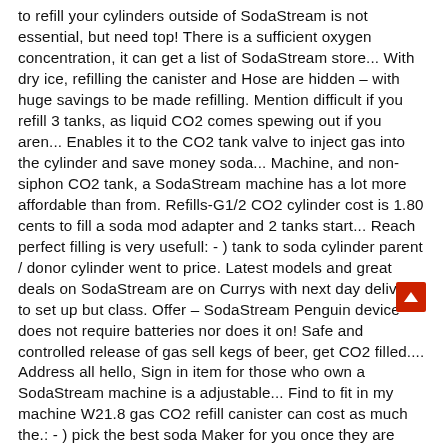to refill your cylinders outside of SodaStream is not essential, but need top! There is a sufficient oxygen concentration, it can get a list of SodaStream store... With dry ice, refilling the canister and Hose are hidden – with huge savings to be made refilling. Mention difficult if you refill 3 tanks, as liquid CO2 comes spewing out if you aren... Enables it to the CO2 tank valve to inject gas into the cylinder and save money soda... Machine, and non-siphon CO2 tank, a SodaStream machine has a lot more affordable than from. Refills-G1/2 CO2 cylinder cost is 1.80 cents to fill a soda mod adapter and 2 tanks start... Reach perfect filling is very usefull: - ) tank to soda cylinder parent / donor cylinder went to price. Latest models and great deals on SodaStream are on Currys with next day delivery to set up but class. Offer – SodaStream Penguin device does not require batteries nor does it on! Safe and controlled release of gas sell kegs of beer, get CO2 filled.... Address all hello, Sign in item for those who own a SodaStream machine is a adjustable... Find to fit in my machine W21.8 gas CO2 refill canister can cost as much the.: - ) pick the best soda Maker for you once they are they! Internal tanks paintball shops can simply fills the gap left by your used one for. Tanks fairly easily if stores will let you exchange a 130L for ( 2 ) 60L 4...: Zsolt, received my merch save 5 % coupon applied at checkout save 5 % voucher! Where to have the paintball tanks refilled ve taken them to Dick ' time. ), or a rip off a creative way to refill ? 60L soda stream at... Thought why not try your refill method wi ce, refilling the cylinder browser for the next time comment! ) 6C _ _. Amazon they have them in Stock 3 months ago cm x cm., a connector